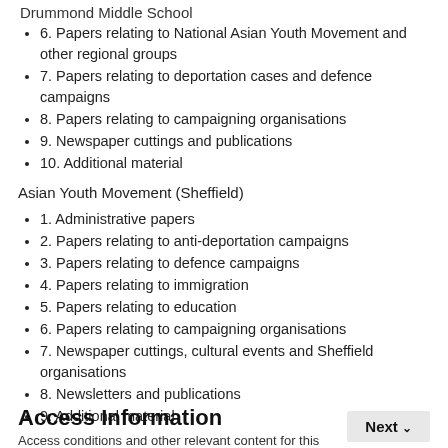Drummond Middle School
6. Papers relating to National Asian Youth Movement and other regional groups
7. Papers relating to deportation cases and defence campaigns
8. Papers relating to campaigning organisations
9. Newspaper cuttings and publications
10. Additional material
Asian Youth Movement (Sheffield)
1. Administrative papers
2. Papers relating to anti-deportation campaigns
3. Papers relating to defence campaigns
4. Papers relating to immigration
5. Papers relating to education
6. Papers relating to campaigning organisations
7. Newspaper cuttings, cultural events and Sheffield organisations
8. Newsletters and publications
9. Additional material
Access Information
Access conditions and other relevant content for this